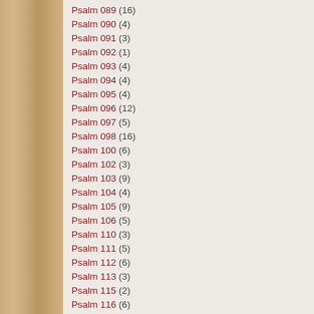Psalm 089 (16)
Psalm 090 (4)
Psalm 091 (3)
Psalm 092 (1)
Psalm 093 (4)
Psalm 094 (4)
Psalm 095 (4)
Psalm 096 (12)
Psalm 097 (5)
Psalm 098 (16)
Psalm 100 (6)
Psalm 102 (3)
Psalm 103 (9)
Psalm 104 (4)
Psalm 105 (9)
Psalm 106 (5)
Psalm 110 (3)
Psalm 111 (5)
Psalm 112 (6)
Psalm 113 (3)
Psalm 115 (2)
Psalm 116 (6)